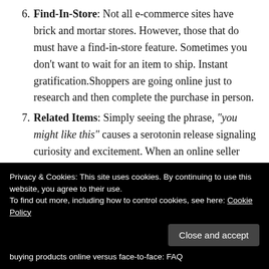6. Find-In-Store: Not all e-commerce sites have brick and mortar stores. However, those that do must have a find-in-store feature. Sometimes you don't want to wait for an item to ship. Instant gratification.Shoppers are going online just to research and then complete the purchase in person.
7. Related Items: Simply seeing the phrase, "you might like this" causes a serotonin release signaling curiosity and excitement. When an online seller uses a related items feature to sell buying products online versus face-to-face: FAQ
Privacy & Cookies: This site uses cookies. By continuing to use this website, you agree to their use.
To find out more, including how to control cookies, see here: Cookie Policy